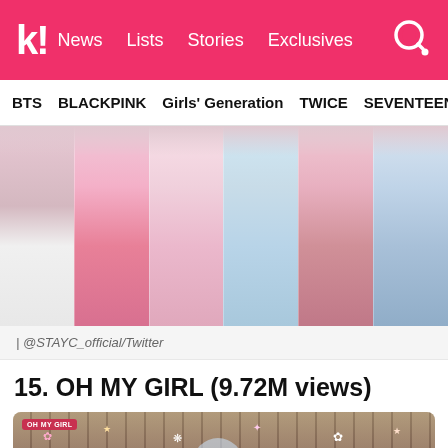k! News Lists Stories Exclusives
BTS BLACKPINK Girls' Generation TWICE SEVENTEEN
[Figure (photo): Six members of STAYC posing together wearing pastel-colored crop tops and mini skirts (white, pink, light pink buttoned, pastel plaid, pink plaid, blue pleated)]
| @STAYC_official/Twitter
15. OH MY GIRL (9.72M views)
[Figure (photo): OH MY GIRL thumbnail showing members in front of a wooden fence background with decorative stars and flowers, OH MY GIRL badge in top-left corner, transparent umbrella visible]